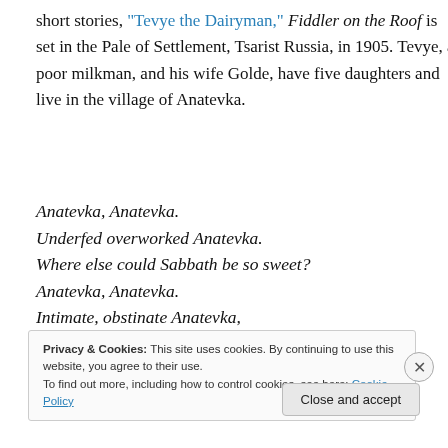short stories, "Tevye the Dairyman," Fiddler on the Roof is set in the Pale of Settlement, Tsarist Russia, in 1905. Tevye, a poor milkman, and his wife Golde, have five daughters and live in the village of Anatevka.
Anatevka, Anatevka.
Underfed overworked Anatevka.
Where else could Sabbath be so sweet?
Anatevka, Anatevka.
Intimate, obstinate Anatevka,
Where I know everyone I meet.
Privacy & Cookies: This site uses cookies. By continuing to use this website, you agree to their use. To find out more, including how to control cookies, see here: Cookie Policy